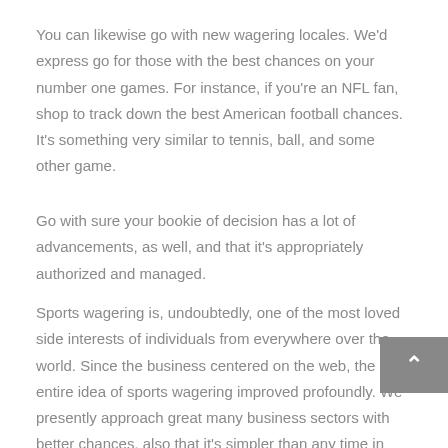You can likewise go with new wagering locales. We'd express go for those with the best chances on your number one games. For instance, if you're an NFL fan, shop to track down the best American football chances. It's something very similar to tennis, ball, and some other game.
Go with sure your bookie of decision has a lot of advancements, as well, and that it's appropriately authorized and managed.
Sports wagering is, undoubtedly, one of the most loved side interests of individuals from everywhere over the world. Since the business centered on the web, the entire idea of sports wagering improved profoundly. We presently approach great many business sectors with better chances, also that it's simpler than any time in recent memory to wager from home or in a hurry.